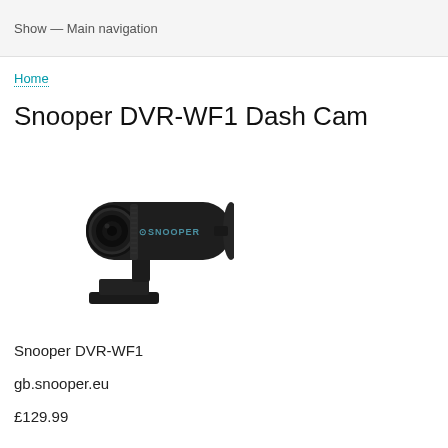Show — Main navigation
Home
Snooper DVR-WF1 Dash Cam
[Figure (photo): Snooper DVR-WF1 dash cam — a black cylindrical camera unit mounted on an angled bracket with a wide-angle lens, photographed on a white background. The Snooper logo is visible on the side.]
Snooper DVR-WF1
gb.snooper.eu
£129.99